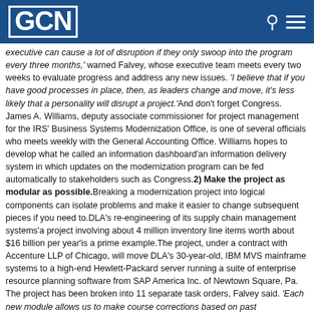GCN
executive can cause a lot of disruption if they only swoop into the program every three months,' warned Falvey, whose executive team meets every two weeks to evaluate progress and address any new issues. 'I believe that if you have good processes in place, then, as leaders change and move, it's less likely that a personality will disrupt a project.'And don't forget Congress. James A. Williams, deputy associate commissioner for project management for the IRS' Business Systems Modernization Office, is one of several officials who meets weekly with the General Accounting Office. Williams hopes to develop what he called an information dashboard'an information delivery system in which updates on the modernization program can be fed automatically to stakeholders such as Congress.2) Make the project as modular as possible.Breaking a modernization project into logical components can isolate problems and make it easier to change subsequent pieces if you need to.DLA's re-engineering of its supply chain management systems'a project involving about 4 million inventory line items worth about $16 billion per year'is a prime example.The project, under a contract with Accenture LLP of Chicago, will move DLA's 30-year-old, IBM MVS mainframe systems to a high-end Hewlett-Packard server running a suite of enterprise resource planning software from SAP America Inc. of Newtown Square, Pa. The project has been broken into 11 separate task orders, Falvey said. 'Each new module allows us to make course corrections based on past performance. That way we have the opportunity to modify the project to take advantage of new technologies or fresh requirements.'3) Don't stop looking for problems.The IRS, working with its Prime modernization contractor Computer Sciences Corp., has taken this rule to heart. Each month, IRS' systems, business function and modernization officials get together with CSC staff and consultants from Mitre Corp. in day-long meetings to review progress and address problems, no matter how small. Attendance is mandatory.The meetings are essential to keeping things on track, said Stephen Kalish, president of CSC's federal civil group and the company's point man on the contract. This year, the IRS and CSC hope to complete 41 modules related to various modernization initiatives.FAA's Thornton also follows this route. 'I review each program on a daily,